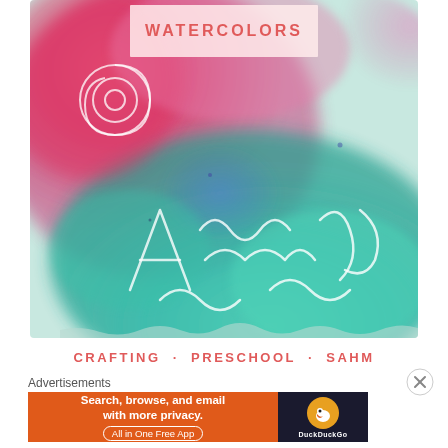[Figure (photo): Close-up photo of a child's watercolor painting with crayon resist technique. The painting shows vibrant pink and teal/turquoise colors with white crayon scribble marks visible through the watercolor wash. Abstract shapes and swirls drawn in white crayon appear over the colorful watercolor background.]
WATERCOLORS
CRAFTING · PRESCHOOL · SAHM
Advertisements
[Figure (screenshot): DuckDuckGo advertisement banner: orange background on left with text 'Search, browse, and email with more privacy. All in One Free App', dark background on right with DuckDuckGo duck logo and 'DuckDuckGo' text.]